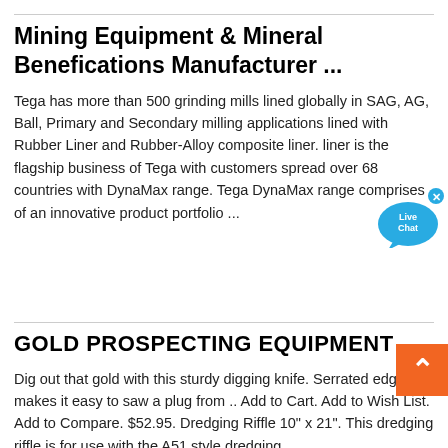Mining Equipment & Mineral Benefications Manufacturer ...
Tega has more than 500 grinding mills lined globally in SAG, AG, Ball, Primary and Secondary milling applications lined with Rubber Liner and Rubber-Alloy composite liner. liner is the flagship business of Tega with customers spread over 68 countries with DynaMax range. Tega DynaMax range comprises of an innovative product portfolio ...
GOLD PROSPECTING EQUIPMENT
Dig out that gold with this sturdy digging knife. Serrated edge makes it easy to saw a plug from .. Add to Cart. Add to Wish List. Add to Compare. $52.95. Dredging Riffle 10" x 21". This dredging riffle is for use with the A51 style dredging ...